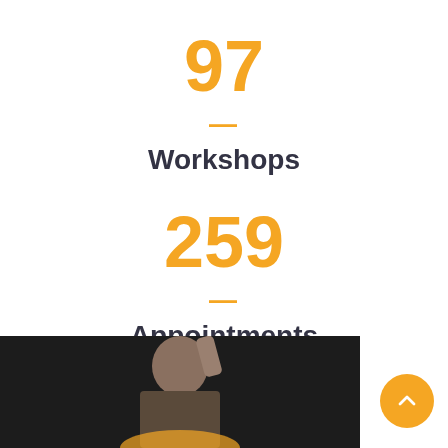97
—
Workshops
259
—
Appointments
[Figure (photo): A man with glasses making a hand gesture, speaking at an event, against a dark background]